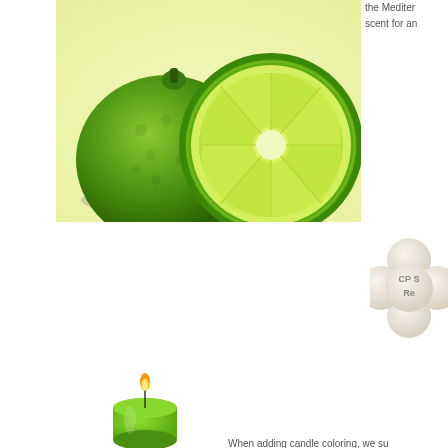[Figure (photo): Photo of bergamot citrus fruit - one whole bergamot and one cut in half showing green flesh interior, on a light yellow-green background]
the Mediterranean scent for an
[Figure (photo): A cream/beige colored flower-shaped soap or badge with text 'CP S... Re...' partially visible]
[Figure (photo): A small green lit candle]
When adding candle coloring, we su